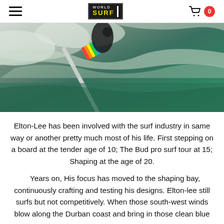WORLD SURF [logo] | hamburger menu | cart 0
[Figure (photo): Close-up action photo of a surfer riding a wave, holding a colorful surfboard (rainbow design), with whitewater foam and green ocean water visible.]
Elton-Lee has been involved with the surf industry in same way or another pretty much most of his life. First stepping on a board at the tender age of 10; The Bud pro surf tour at 15; Shaping at the age of 20.
Years on, His focus has moved to the shaping bay, continuously crafting and testing his designs. Elton-lee still surfs but not competitively. When those south-west winds blow along the Durban coast and bring in those clean blue